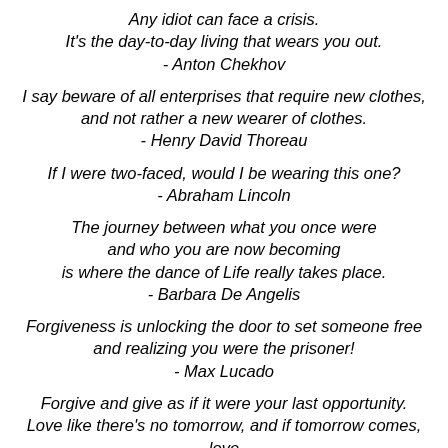Any idiot can face a crisis.
It's the day-to-day living that wears you out.
- Anton Chekhov
I say beware of all enterprises that require new clothes, and not rather a new wearer of clothes.
- Henry David Thoreau
If I were two-faced, would I be wearing this one?
- Abraham Lincoln
The journey between what you once were
and who you are now becoming
is where the dance of Life really takes place.
- Barbara De Angelis
Forgiveness is unlocking the door to set someone free
and realizing you were the prisoner!
- Max Lucado
Forgive and give as if it were your last opportunity.
Love like there's no tomorrow, and if tomorrow comes, love again.
- Max Lucado
Begin each day as if it were on purpose.